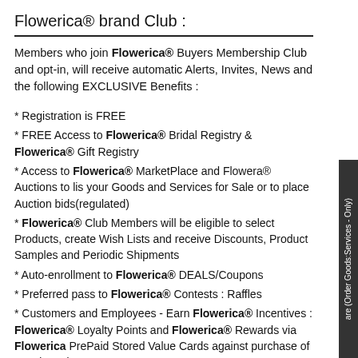Flowerica® brand Club :
Members who join Flowerica® Buyers Membership Club and opt-in, will receive automatic Alerts, Invites, News and the following EXCLUSIVE Benefits :
* Registration is FREE
* FREE Access to Flowerica® Bridal Registry & Flowerica® Gift Registry
* Access to Flowerica® MarketPlace and Flowera® Auctions to list your Goods and Services for Sale or to place Auction bids(regulated)
* Flowerica® Club Members will be eligible to select Products, create Wish Lists and receive Discounts, Product Samples and Periodic Shipments
* Auto-enrollment to Flowerica® DEALS/Coupons
* Preferred pass to Flowerica® Contests : Raffles
* Customers and Employees - Earn Flowerica® Incentives : Flowerica® Loyalty Points and Flowerica® Rewards via Flowerica PrePaid Stored Value Cards against purchase of Goods and